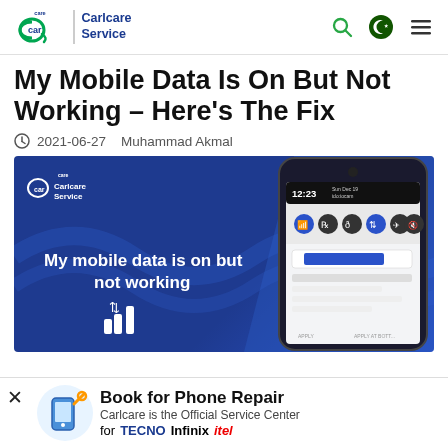Carlcare Service
My Mobile Data Is On But Not Working – Here's The Fix
2021-06-27    Muhammad Akmal
[Figure (photo): Featured article image with dark blue background showing a smartphone and text 'My mobile data is on but not working' with Carlcare Service branding]
Book for Phone Repair
Carlcare is the Official Service Center
for TECNO Infinix Itel